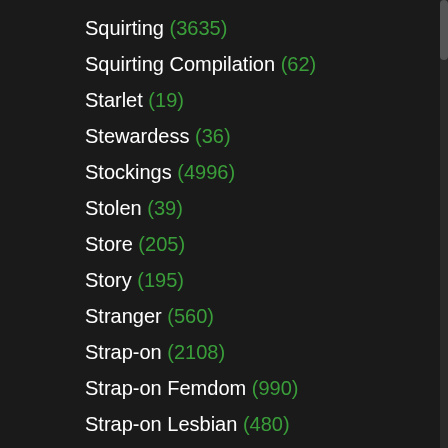Squirting (3635)
Squirting Compilation (62)
Starlet (19)
Stewardess (36)
Stockings (4996)
Stolen (39)
Store (205)
Story (195)
Stranger (560)
Strap-on (2108)
Strap-on Femdom (990)
Strap-on Lesbian (480)
Strap-on Shemale (10)
Street (586)
Stripper (2069)
Stripping (2059)